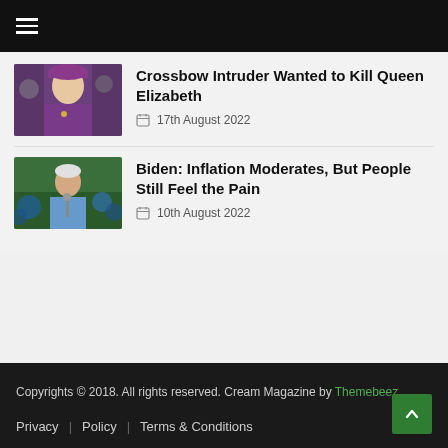≡ (hamburger menu)
Crossbow Intruder Wanted to Kill Queen Elizabeth
17th August 2022
Biden: Inflation Moderates, But People Still Feel the Pain
10th August 2022
Copyrights © 2018. All rights reserved. Cream Magazine by Themebeez
Privacy | Policy | Terms & Conditions